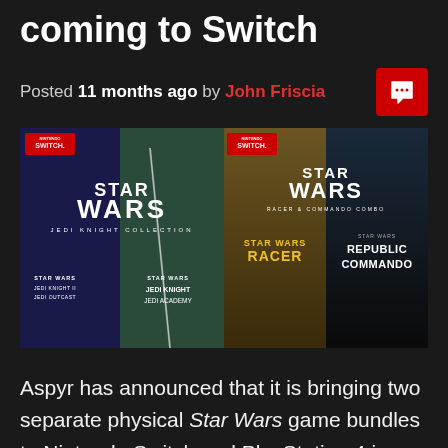coming to Switch
Posted 11 months ago by John Friscia
[Figure (photo): Two Star Wars Nintendo Switch game bundle covers: Star Wars Jedi Knight Collection (featuring Jedi Knight II: Jedi Outcast and Jedi Knight: Jedi Academy) and Star Wars Racer & Commando Combo (featuring Star Wars Racer and Republic Commando)]
Aspyr has announced that it is bringing two separate physical Star Wars game bundles to Nintendo Switch and PlayStation 4 in collaboration with publisher THQ Nordic. Star